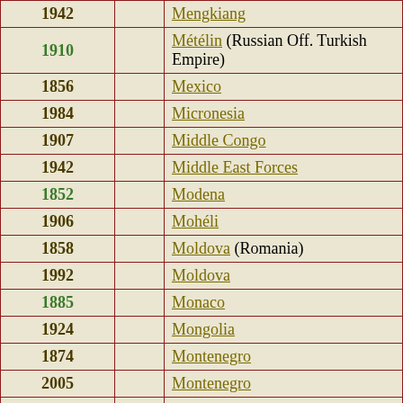| Year |  | Name |
| --- | --- | --- |
| 1942 |  | Mengkiang |
| 1910 |  | Métélin (Russian Off. Turkish Empire) |
| 1856 |  | Mexico |
| 1984 |  | Micronesia |
| 1907 |  | Middle Congo |
| 1942 |  | Middle East Forces |
| 1852 |  | Modena |
| 1906 |  | Mohéli |
| 1858 |  | Moldova (Romania) |
| 1992 |  | Moldova |
| 1885 |  | Monaco |
| 1924 |  | Mongolia |
| 1874 |  | Montenegro |
| 2005 |  | Montenegro |
| 1876 |  | Montserrat |
| 1956 |  | Morocco |
| 1898 |  | Morocco Agencies |
| 1956 |  | Morocco, Northern Zone |